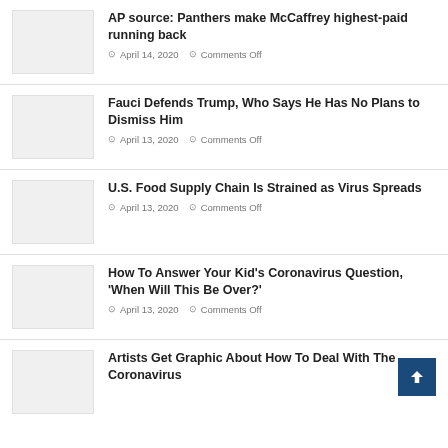AP source: Panthers make McCaffrey highest-paid running back | April 14, 2020 | Comments Off
Fauci Defends Trump, Who Says He Has No Plans to Dismiss Him | April 13, 2020 | Comments Off
U.S. Food Supply Chain Is Strained as Virus Spreads | April 13, 2020 | Comments Off
How To Answer Your Kid's Coronavirus Question, 'When Will This Be Over?' | April 13, 2020 | Comments Off
Artists Get Graphic About How To Deal With The Coronavirus